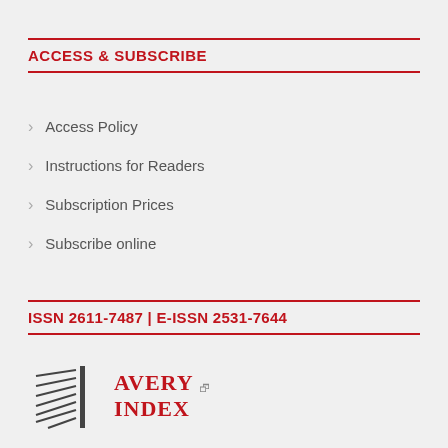ACCESS & SUBSCRIBE
Access Policy
Instructions for Readers
Subscription Prices
Subscribe online
ISSN 2611-7487 | E-ISSN 2531-7644
[Figure (logo): Avery Index logo with stylized column/lines icon and text AVERY INDEX in dark red serif font]